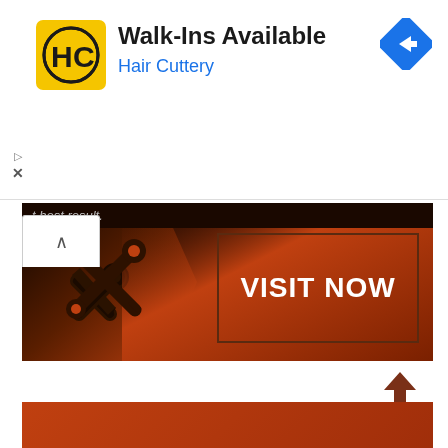[Figure (screenshot): Hair Cuttery advertisement banner. Shows the HC logo (yellow square with HC letters), text 'Walk-Ins Available' in bold black and 'Hair Cuttery' in blue. A blue diamond navigation icon is on the right. Play and close (x) controls are on the left.]
[Figure (screenshot): Dark brown/orange gradient banner with tools icon on the left, 'VISIT NOW' button in the center with a border box, and partial italic text '...t best result.' at top.]
[Figure (screenshot): Upload arrow icon (pointing up with a horizontal line beneath) on white background, followed by a partial orange/brown strip at the bottom of the page.]